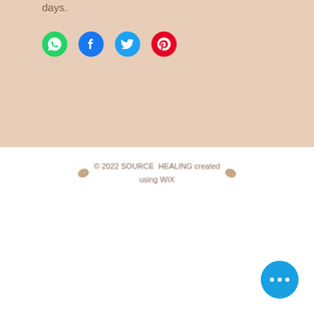days.
[Figure (infographic): Social share icons: WhatsApp (green), Facebook (blue), Twitter (light blue), Pinterest (red)]
© 2022 SOURCE HEALING created using WIX